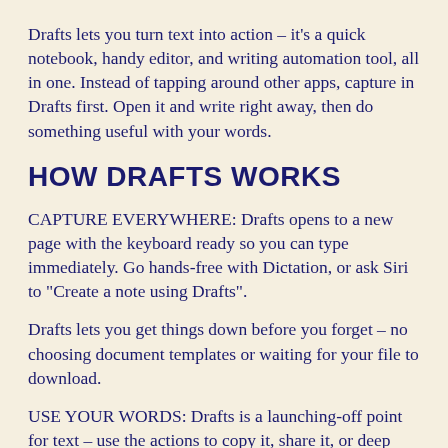Drafts lets you turn text into action – it's a quick notebook, handy editor, and writing automation tool, all in one. Instead of tapping around other apps, capture in Drafts first. Open it and write right away, then do something useful with your words.
HOW DRAFTS WORKS
CAPTURE EVERYWHERE: Drafts opens to a new page with the keyboard ready so you can type immediately. Go hands-free with Dictation, or ask Siri to "Create a note using Drafts".
Drafts lets you get things down before you forget – no choosing document templates or waiting for your file to download.
USE YOUR WORDS: Drafts is a launching-off point for text – use the actions to copy it, share it, or deep link into other apps and services. Compose a tweet or